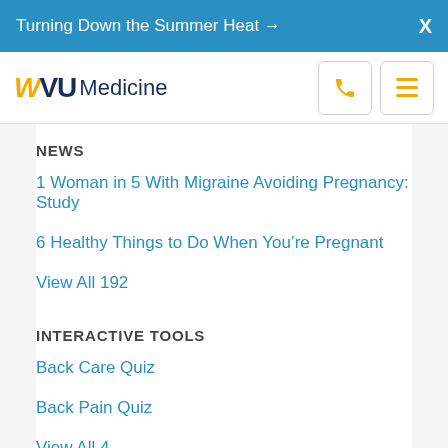Turning Down the Summer Heat → X
WVU Medicine
NEWS
1 Woman in 5 With Migraine Avoiding Pregnancy: Study
6 Healthy Things to Do When You're Pregnant
View All 192
INTERACTIVE TOOLS
Back Care Quiz
Back Pain Quiz
View All 4
VIDEOS
Exercise During Pregnancy